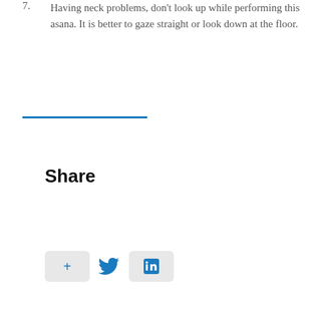7. Having neck problems, don't look up while performing this asana. It is better to gaze straight or look down at the floor.
Share
[Figure (other): Social sharing buttons: a plus button, a Twitter bird icon, and a LinkedIn icon button]
[Figure (photo): Placeholder image with a grey background and a white circle (avatar/profile placeholder)]